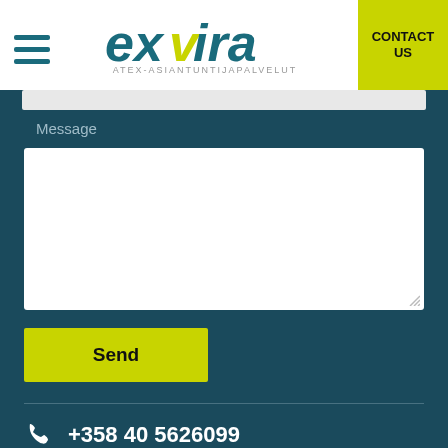[Figure (logo): Exvira logo with text ATEX-ASIANTUNTIJAPALVELUT]
CONTACT US
Message
Send
+358 40 5626099
pauli@exvira.fi